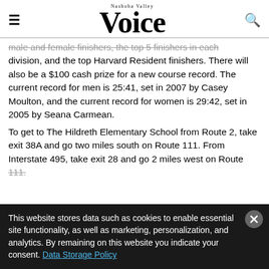Nashoba Valley Voice
male and female finishers, the top 5 finishers in each division, and the top Harvard Resident finishers. There will also be a $100 cash prize for a new course record. The current record for men is 25:41, set in 2007 by Casey Moulton, and the current record for women is 29:42, set in 2005 by Seana Carmean.
To get to The Hildreth Elementary School from Route 2, take exit 38A and go two miles south on Route 111. From Interstate 495, take exit 28 and go 2 miles west on Route 111.
This website stores data such as cookies to enable essential site functionality, as well as marketing, personalization, and analytics. By remaining on this website you indicate your consent. Data Storage Policy